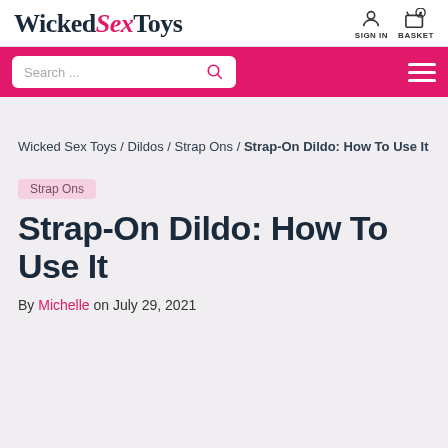WickedSexToys — SIGN IN | BASKET
Search ...
Wicked Sex Toys / Dildos / Strap Ons / Strap-On Dildo: How To Use It
Strap Ons
Strap-On Dildo: How To Use It
By Michelle on July 29, 2021